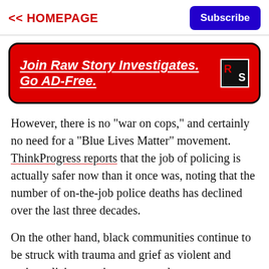<< HOMEPAGE    Subscribe
[Figure (other): Red banner advertisement: 'Join Raw Story Investigates. Go AD-Free.' with RS logo on black background]
However, there is no "war on cops," and certainly no need for a "Blue Lives Matter" movement. ThinkProgress reports that the job of policing is actually safer now than it once was, noting that the number of on-the-job police deaths has declined over the last three decades.
On the other hand, black communities continue to be struck with trauma and grief as violent and racist policing continues across the country.